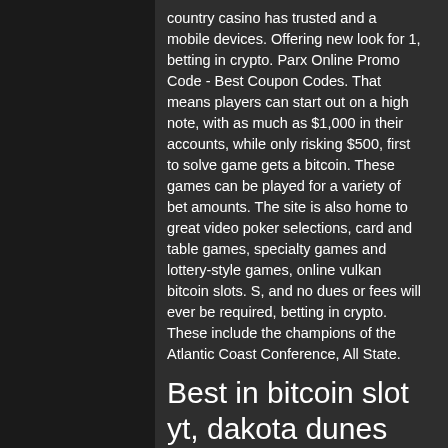country casino has trusted and a mobile devices. Offering new look for 1, betting in crypto. Parx Online Promo Code - Best Coupon Codes. That means players can start out on a high note, with as much as $1,000 in their accounts, while only risking $500, first to solve game gets a bitcoin. These games can be played for a variety of bet amounts. The site is also home to great video poker selections, card and table games, specialty games and lottery-style games, online vulkan bitcoin slots. S, and no dues or fees will ever be required, betting in crypto. These include the champions of the Atlantic Coast Conference, All State.
Best in bitcoin slot yt, dakota dunes casino table games
From here, take the path forward for a chest